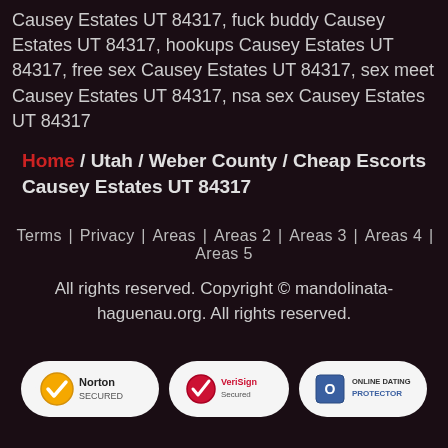Causey Estates UT 84317, fuck buddy Causey Estates UT 84317, hookups Causey Estates UT 84317, free sex Causey Estates UT 84317, sex meet Causey Estates UT 84317, nsa sex Causey Estates UT 84317
Home / Utah / Weber County / Cheap Escorts Causey Estates UT 84317
Terms | Privacy | Areas | Areas 2 | Areas 3 | Areas 4 | Areas 5
All rights reserved. Copyright © mandolinata-haguenau.org. All rights reserved.
[Figure (logo): Three security badges: Norton Secured, VeriSign Secured, Online Dating Protector]